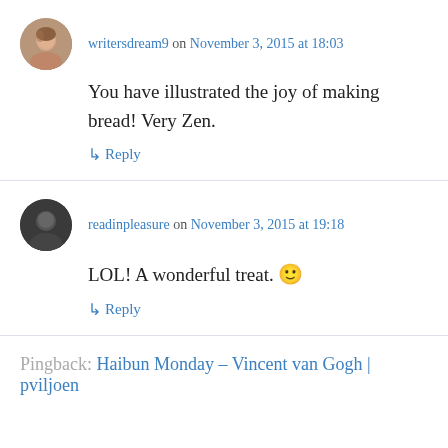[Figure (photo): Avatar photo of writersdream9, circular profile image]
writersdream9 on November 3, 2015 at 18:03
You have illustrated the joy of making bread! Very Zen.
↳ Reply
[Figure (photo): Avatar photo of readinpleasure, circular profile image, dark toned]
readinpleasure on November 3, 2015 at 19:18
LOL! A wonderful treat. 🙂
↳ Reply
Pingback: Haibun Monday – Vincent van Gogh | pviljoen